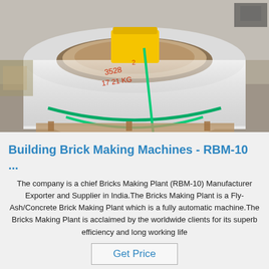[Figure (photo): A large white industrial roll or coil (likely a roll of strapping material or similar) sitting on a wooden pallet on a concrete floor. A yellow container is visible inside the hollow center of the roll. Green strapping bands are visible. Numbers are handwritten in red on the inner cardboard core.]
Building Brick Making Machines - RBM-10 ...
The company is a chief Bricks Making Plant (RBM-10) Manufacturer Exporter and Supplier in India.The Bricks Making Plant is a Fly-Ash/Concrete Brick Making Plant which is a fully automatic machine.The Bricks Making Plant is acclaimed by the worldwide clients for its superb efficiency and long working life
Get Price